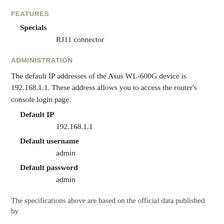FEATURES
Specials
RJ11 connector
ADMINISTRATION
The default IP addresses of the Asus WL-600G device is 192.168.1.1. These address allows you to access the router's console login page.
Default IP
192.168.1.1
Default username
admin
Default password
admin
The specifications above are based on the official data published by